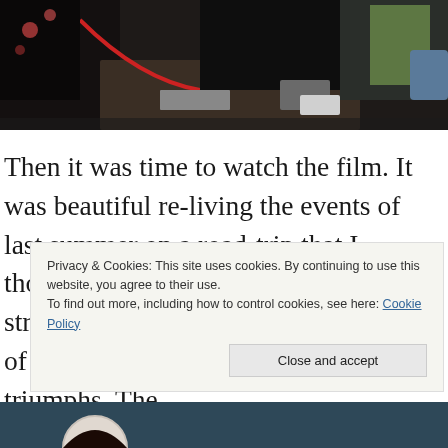[Figure (photo): Partial photo of people at a table, cropped at top of page]
Then it was time to watch the film. It was beautiful re-living the events of last summer on a road-trip that I thought we would never survive. The stress of it was transformed into a story of hardships endured but where love triumphs. The
Privacy & Cookies: This site uses cookies. By continuing to use this website, you agree to their use.
To find out more, including how to control cookies, see here: Cookie Policy
Close and accept
[Figure (photo): Bottom partial photo, partially visible at bottom of page with circular profile image overlay]